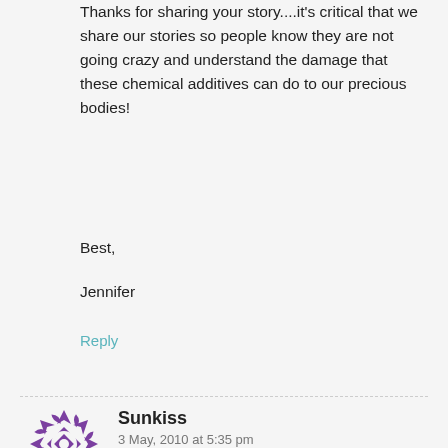Thanks for sharing your story....it's critical that we share our stories so people know they are not going crazy and understand the damage that these chemical additives can do to our precious bodies!
Best,
Jennifer
Reply
[Figure (logo): Purple decorative circular arrow/star icon avatar for user Sunkiss]
Sunkiss
3 May, 2010 at 5:35 pm
I have been suffering with this rash since 2003. I have changed everything in my life to try to get rid of it, which was actually a